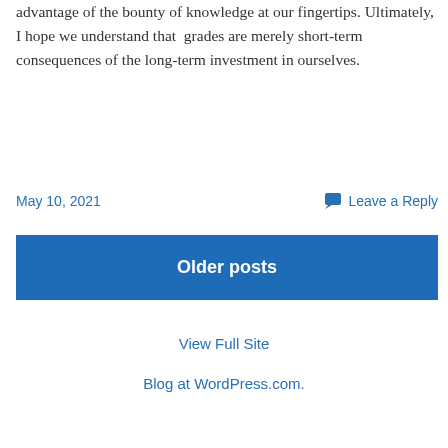advantage of the bounty of knowledge at our fingertips. Ultimately, I hope we understand that  grades are merely short-term consequences of the long-term investment in ourselves.
May 10, 2021
Leave a Reply
Older posts
View Full Site
Blog at WordPress.com.